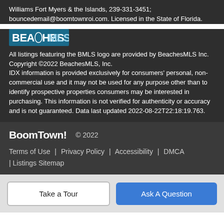Williams Fort Myers & the Islands, 239-331-3451; bouncedemail@boomtownroi.com. Licensed in the State of Florida.
[Figure (logo): BeachesMLS logo with stylized text BEACHESMLS in white and teal]
All listings featuring the BMLS logo are provided by BeachesMLS Inc. Copyright ©2022 BeachesMLS, Inc. IDX information is provided exclusively for consumers' personal, non-commercial use and it may not be used for any purpose other than to identify prospective properties consumers may be interested in purchasing. This information is not verified for authenticity or accuracy and is not guaranteed. Data last updated 2022-08-22T22:18:19.763.
BoomTown! © 2022
Terms of Use | Privacy Policy | Accessibility | DMCA | Listings Sitemap
Take a Tour
Ask A Question